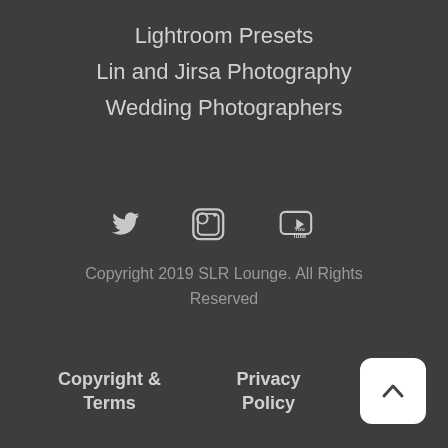Lightroom Presets
Lin and Jirsa Photography
Wedding Photographers
[Figure (infographic): Three social media icons in white: Twitter bird icon, Instagram camera icon, YouTube logo icon, displayed horizontally centered on dark background.]
Copyright 2019 SLR Lounge. All Rights Reserved
Copyright & Terms
Privacy Policy